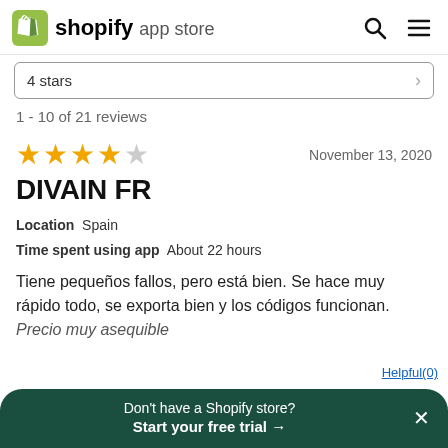shopify app store
4 stars
1 - 10 of 21 reviews
★★★★☆  November 13, 2020
DIVAIN FR
Location  Spain
Time spent using app  About 22 hours
Tiene pequeños fallos, pero está bien. Se hace muy rápido todo, se exporta bien y los códigos funcionan.
Precio muy asequible
Don't have a Shopify store?
Start your free trial →